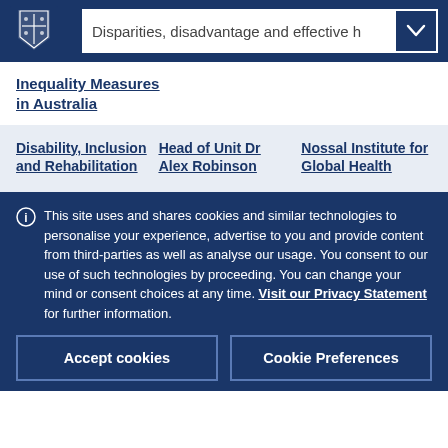Disparities, disadvantage and effective h
Inequality Measures in Australia
Disability, Inclusion and Rehabilitation
Head of Unit Dr Alex Robinson
Nossal Institute for Global Health
This site uses and shares cookies and similar technologies to personalise your experience, advertise to you and provide content from third-parties as well as analyse our usage. You consent to our use of such technologies by proceeding. You can change your mind or consent choices at any time. Visit our Privacy Statement for further information.
Accept cookies
Cookie Preferences